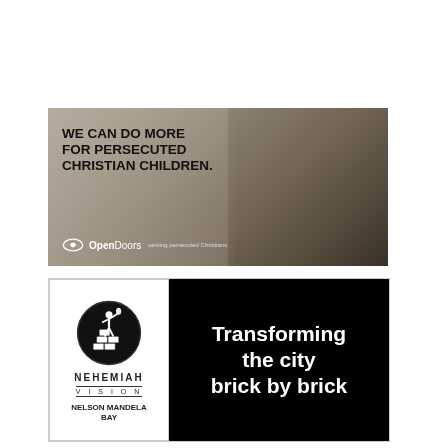[Figure (illustration): Open Doors advertisement showing a young boy in a war-damaged setting. Text reads 'WE CAN DO MORE FOR PERSECUTED CHRISTIAN CHILDREN.' with the OpenDoors logo at the bottom left.]
[Figure (illustration): Nehemiah Vision advertisement split into two panels: left panel shows the Nehemiah Vision logo (a figure holding a torch over bricks in a circle) with text 'NEHEMIAH VISION' and 'NELSON MANDELA BAY'; right black panel reads 'Transforming the city brick by brick'.]